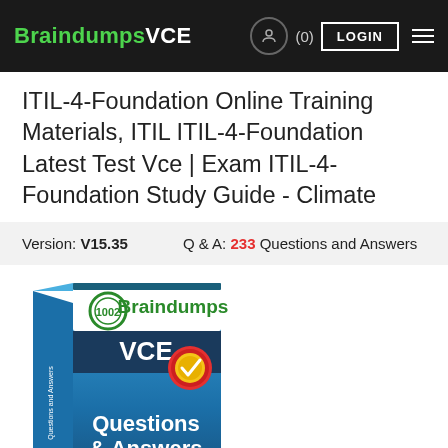BraindumpsVCE  (0)  LOGIN
ITIL-4-Foundation Online Training Materials, ITIL ITIL-4-Foundation Latest Test Vce | Exam ITIL-4-Foundation Study Guide - Climate
Version: V15.35   Q & A: 233 Questions and Answers
[Figure (illustration): BraindumpsVCE product box showing a book with 'Braindumps VCE Questions & Answers' text and a certified checkmark badge]